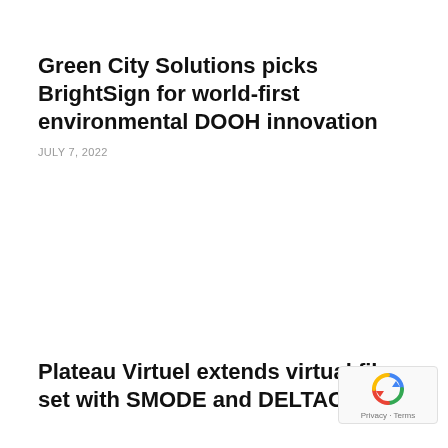Green City Solutions picks BrightSign for world-first environmental DOOH innovation
JULY 7, 2022
Plateau Virtuel extends virtual film set with SMODE and DELTACAST
[Figure (logo): reCAPTCHA badge with rotating arrows icon and 'Privacy - Terms' text]